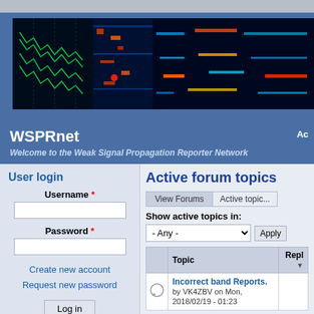[Figure (screenshot): WSPRnet website banner with spectrogram radio signals and yellow WSPR logo text on dark blue/black background]
WSPRnet
Welcome to the Weak Signal Propagation Reporter Network
User login
Username *
Password *
Create new account
Request new password
Active forum topics
Show active topics in:
| Topic | Repl |
| --- | --- |
| Incorrect band Reports. by VK4ZBV on Mon, 2018/02/19 - 01:23 |  |